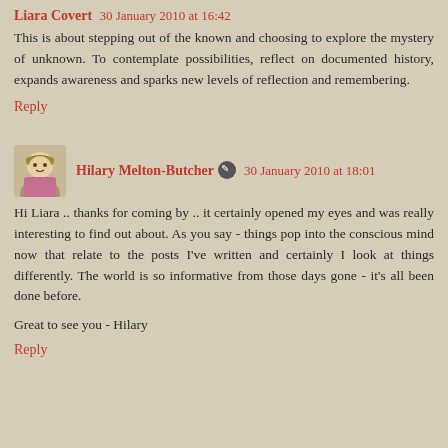Liara Covert 30 January 2010 at 16:42
This is about stepping out of the known and choosing to explore the mystery of unknown. To contemplate possibilities, reflect on documented history, expands awareness and sparks new levels of reflection and remembering.
Reply
Hilary Melton-Butcher 30 January 2010 at 18:01
Hi Liara .. thanks for coming by .. it certainly opened my eyes and was really interesting to find out about. As you say - things pop into the conscious mind now that relate to the posts I've written and certainly I look at things differently. The world is so informative from those days gone - it's all been done before.
Great to see you - Hilary
Reply